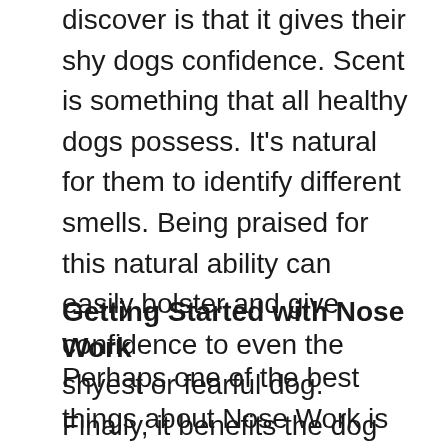discover is that it gives their shy dogs confidence. Scent is something that all healthy dogs possess. It's natural for them to identify different smells. Being praised for this natural ability can easily bolster and give confidence to even the shyest or fearful dog. Finally, it benefits the dog because they get to spend time with you. That's their favorite thing to do.
Getting Started with Nose Work
Perhaps one of the best things about Nose Work is that any dog can join. If your dog is excluded from other physical games